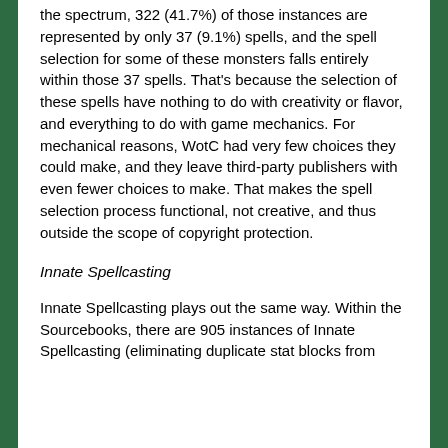the spectrum, 322 (41.7%) of those instances are represented by only 37 (9.1%) spells, and the spell selection for some of these monsters falls entirely within those 37 spells. That's because the selection of these spells have nothing to do with creativity or flavor, and everything to do with game mechanics. For mechanical reasons, WotC had very few choices they could make, and they leave third-party publishers with even fewer choices to make. That makes the spell selection process functional, not creative, and thus outside the scope of copyright protection.
Innate Spellcasting
Innate Spellcasting plays out the same way. Within the Sourcebooks, there are 905 instances of Innate Spellcasting (eliminating duplicate stat blocks from